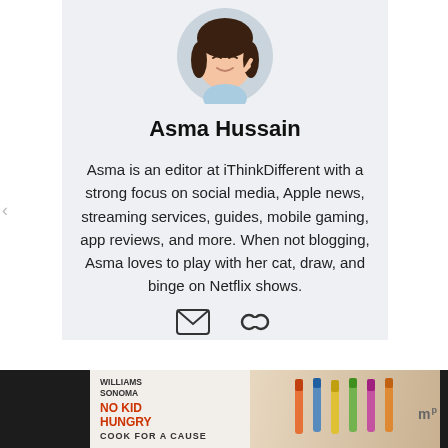[Figure (illustration): Animated avatar/bitmoji of a young woman with dark hair, wearing a light blue top, making a peace sign gesture, inside a circular frame]
Asma Hussain
Asma is an editor at iThinkDifferent with a strong focus on social media, Apple news, streaming services, guides, mobile gaming, app reviews, and more. When not blogging, Asma loves to play with her cat, draw, and binge on Netflix shows.
[Figure (infographic): Email envelope icon and a chain/link icon for contact information]
[Figure (infographic): Advertisement banner: Williams Sonoma - No Kid Hungry - Cook For A Cause, with decorative kitchen utensils]